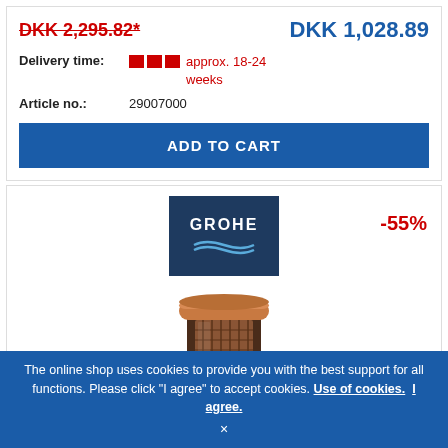DKK 2,295.82*
DKK 1,028.89
Delivery time: approx. 18-24 weeks
Article no.: 29007000
ADD TO CART
[Figure (logo): GROHE brand logo with wave graphic on dark blue background]
-55%
[Figure (photo): Close-up top view of a cylindrical plumbing component in dark bronze/copper finish with internal screen/filter visible]
The online shop uses cookies to provide you with the best support for all functions. Please click "I agree" to accept cookies. Use of cookies. I agree.